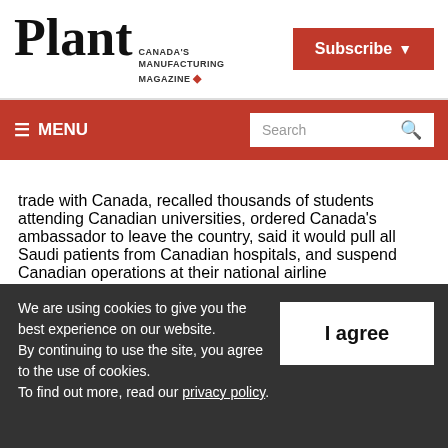Plant - Canada's Manufacturing Magazine | Subscribe
≡ MENU | Search
trade with Canada, recalled thousands of students attending Canadian universities, ordered Canada's ambassador to leave the country, said it would pull all Saudi patients from Canadian hospitals, and suspend Canadian operations at their national airline
We are using cookies to give you the best experience on our website. By continuing to use the site, you agree to the use of cookies. To find out more, read our privacy policy.